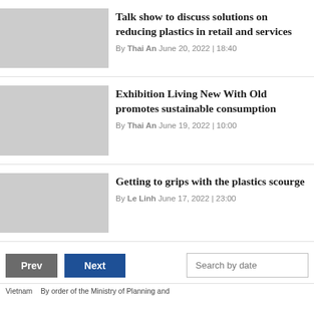Talk show to discuss solutions on reducing plastics in retail and services
By Thai An June 20, 2022 | 18:40
Exhibition Living New With Old promotes sustainable consumption
By Thai An June 19, 2022 | 10:00
Getting to grips with the plastics scourge
By Le Linh June 17, 2022 | 23:00
Prev  Next  Search by date
Vietnam ... By order of the Ministry of Planning and ...